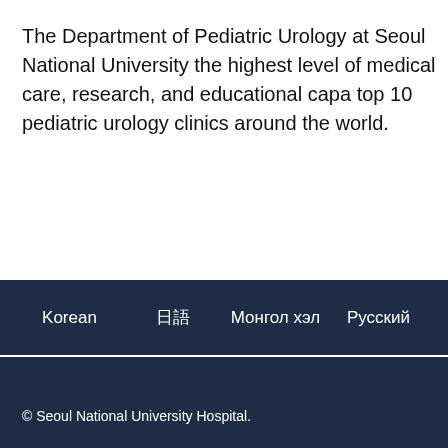The Department of Pediatric Urology at Seoul National University the highest level of medical care, research, and educational capa top 10 pediatric urology clinics around the world.
Korean  日语  Монгол хэл  Русский
© Seoul National University Hospital.